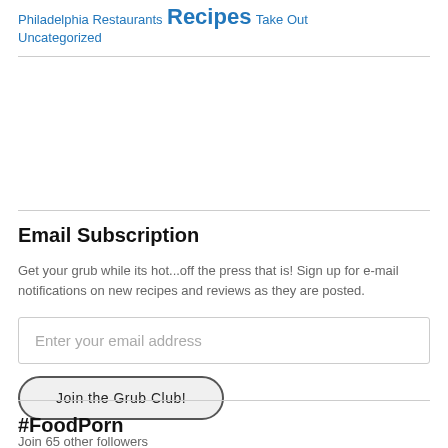Philadelphia Restaurants Recipes Take Out
Uncategorized
Email Subscription
Get your grub while its hot...off the press that is! Sign up for e-mail notifications on new recipes and reviews as they are posted.
Enter your email address
Join the Grub Club!
Join 65 other followers
#FoodPorn